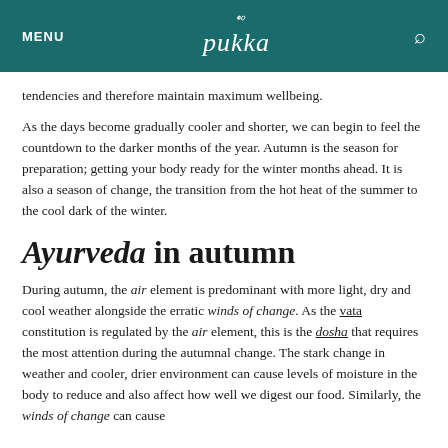MENU  pukka  [search]
tendencies and therefore maintain maximum wellbeing.
As the days become gradually cooler and shorter, we can begin to feel the countdown to the darker months of the year. Autumn is the season for preparation; getting your body ready for the winter months ahead. It is also a season of change, the transition from the hot heat of the summer to the cool dark of the winter.
Ayurveda in autumn
During autumn, the air element is predominant with more light, dry and cool weather alongside the erratic winds of change. As the vata constitution is regulated by the air element, this is the dosha that requires the most attention during the autumnal change. The stark change in weather and cooler, drier environment can cause levels of moisture in the body to reduce and also affect how well we digest our food. Similarly, the winds of change can cause...